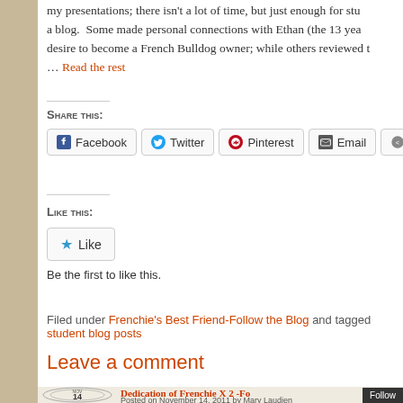my presentations; there isn't a lot of time, but just enough for students to start a blog. Some made personal connections with Ethan (the 13 year old with a desire to become a French Bulldog owner; while others reviewed t… Read the rest
Share this:
[Figure (other): Social share buttons: Facebook, Twitter, Pinterest, Email, More]
Like this:
[Figure (other): Like button with star icon]
Be the first to like this.
Filed under Frenchie's Best Friend-Follow the Blog and tagged student blog posts
Leave a comment
NOV 14 — Dedication of Frenchie X 2 -Fo… Posted on November 14, 2011 by Mary Laudien